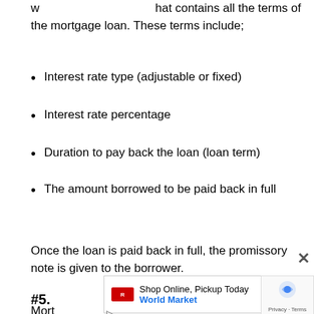w... hat contains all the terms of the mortgage loan. These terms include;
Interest rate type (adjustable or fixed)
Interest rate percentage
Duration to pay back the loan (loan term)
The amount borrowed to be paid back in full
Once the loan is paid back in full, the promissory note is given to the borrower.
#5.
Mort... which...